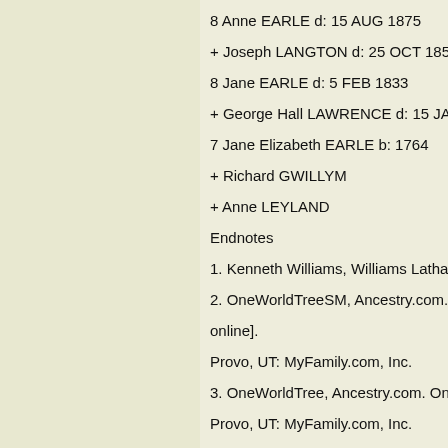8 Anne EARLE d: 15 AUG 1875
+ Joseph LANGTON d: 25 OCT 1855
8 Jane EARLE d: 5 FEB 1833
+ George Hall LAWRENCE d: 15 JAN 1869
7 Jane Elizabeth EARLE b: 1764
+ Richard GWILLYM
+ Anne LEYLAND
Endnotes
1. Kenneth Williams, Williams Latham Tomli
2. OneWorldTreeSM, Ancestry.com. One W
online].
Provo, UT: MyFamily.com, Inc.
3. OneWorldTree, Ancestry.com. One World
Provo, UT: MyFamily.com, Inc.
4. OneWorldTreeSM, Ancestry.com. One W